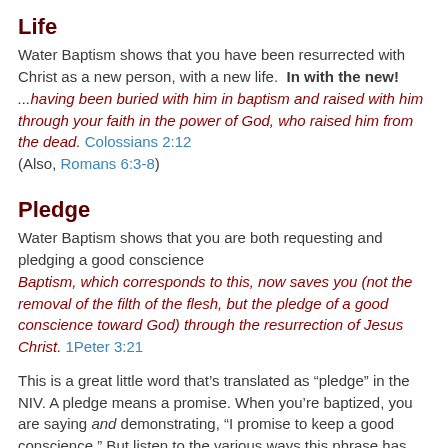Life
Water Baptism shows that you have been resurrected with Christ as a new person, with a new life.  In with the new! ...having been buried with him in baptism and raised with him through your faith in the power of God, who raised him from the dead. Colossians 2:12
(Also, Romans 6:3-8)
Pledge
Water Baptism shows that you are both requesting and pledging a good conscience
Baptism, which corresponds to this, now saves you (not the removal of the filth of the flesh, but the pledge of a good conscience toward God) through the resurrection of Jesus Christ. 1Peter 3:21
This is a great little word that’s translated as “pledge” in the NIV. A pledge means a promise. When you’re baptized, you are saying and demonstrating, “I promise to keep a good conscience.” But listen to the various ways this phrase has been translated into English: